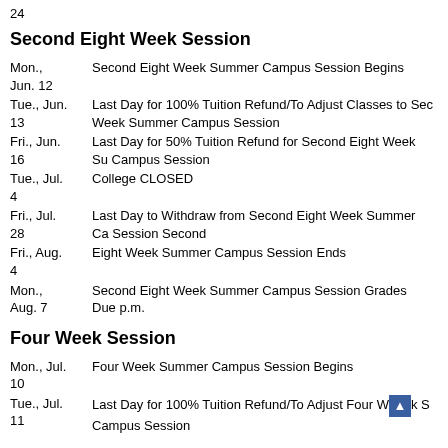24
Second Eight Week Session
| Date | Event |
| --- | --- |
| Mon., Jun. 12 | Second Eight Week Summer Campus Session Begins |
| Tue., Jun. 13 | Last Day for 100% Tuition Refund/To Adjust Classes to Second Week Summer Campus Session |
| Fri., Jun. 16 | Last Day for 50% Tuition Refund for Second Eight Week Summer Campus Session |
| Tue., Jul. 4 | College CLOSED |
| Fri., Jul. 28 | Last Day to Withdraw from Second Eight Week Summer Campus Session Second |
| Fri., Aug. 4 | Eight Week Summer Campus Session Ends |
| Mon., Aug. 7 | Second Eight Week Summer Campus Session Grades Due p.m. |
Four Week Session
| Date | Event |
| --- | --- |
| Mon., Jul. 10 | Four Week Summer Campus Session Begins |
| Tue., Jul. 11 | Last Day for 100% Tuition Refund/To Adjust Four Week Summer Campus Session |